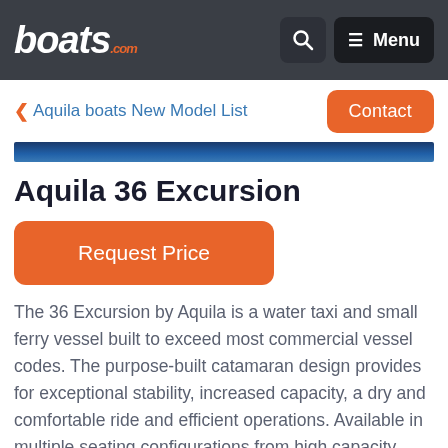boats.com — Search | Menu
< Aquila boats New Model List
Contact
[Figure (photo): Blue water/boat image strip at top of content area]
Aquila 36 Excursion
Request Price
The 36 Excursion by Aquila is a water taxi and small ferry vessel built to exceed most commercial vessel codes. The purpose-built catamaran design provides for exceptional stability, increased capacity, a dry and comfortable ride and efficient operations. Available in multiple seating configurations from high capacity thirty passenger row seating to high back, reclining, luxury seating and circular entertainment seating. The Aquila 36 Excursion is available